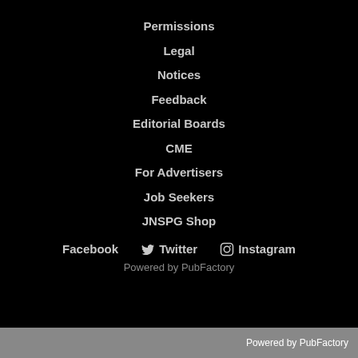Permissions
Legal
Notices
Feedback
Editorial Boards
CME
For Advertisers
Job Seekers
JNSPG Shop
Facebook  Twitter  Instagram
Powered by PubFactory
Powered by PubFactory